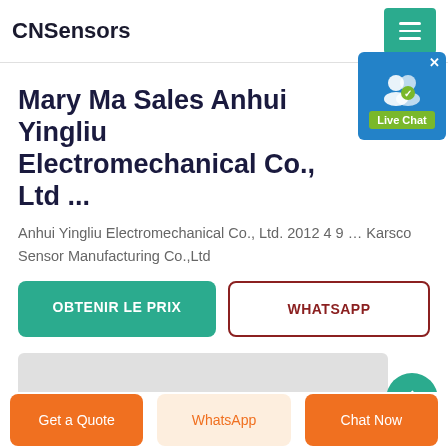CNSensors
[Figure (illustration): Live Chat widget button with user icon and green label on blue background]
Mary Ma Sales Anhui Yingliu Electromechanical Co., Ltd ...
Anhui Yingliu Electromechanical Co., Ltd. 2012 4 9 … Karsco Sensor Manufacturing Co.,Ltd
OBTENIR LE PRIX
WHATSAPP
[Figure (photo): Gray image placeholder with teal circle arrow button on the right]
Get a Quote | WhatsApp | Chat Now